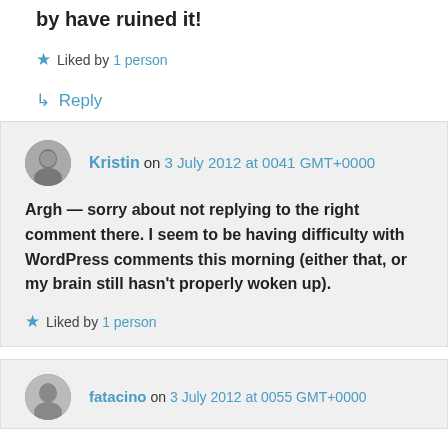by have ruined it!
★ Liked by 1 person
↳ Reply
Kristin on 3 July 2012 at 0041 GMT+0000
Argh — sorry about not replying to the right comment there. I seem to be having difficulty with WordPress comments this morning (either that, or my brain still hasn't properly woken up).
★ Liked by 1 person
fatacino on 3 July 2012 at 0055 GMT+0000